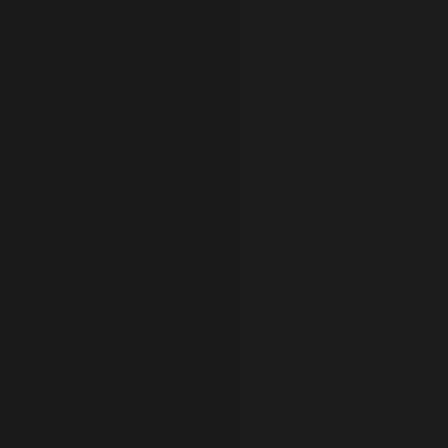NOVEMBER 7, 2008
History Made, Cr... & It Dumps.
[Figure (illustration): Grid of illustrated portrait sketches of historical U.S. presidents, drawn in a caricature/line-art style with orange/peach skin tones, arranged in 4 rows of 5 faces each, with 'NOVEMBER' text visible at bottom right.]
In post-election day spirit